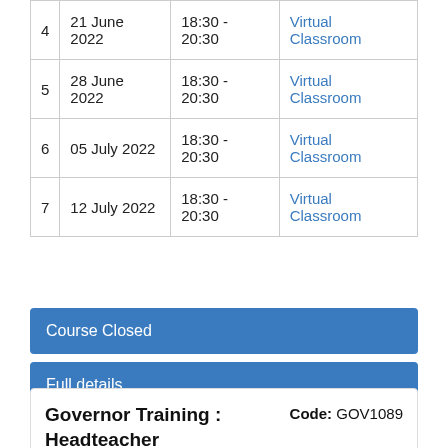|  | Date | Time | Location |
| --- | --- | --- | --- |
| 4 | 21 June 2022 | 18:30 - 20:30 | Virtual Classroom |
| 5 | 28 June 2022 | 18:30 - 20:30 | Virtual Classroom |
| 6 | 05 July 2022 | 18:30 - 20:30 | Virtual Classroom |
| 7 | 12 July 2022 | 18:30 - 20:30 | Virtual Classroom |
Course Closed
Full details
Print Course
Governor Training : Headteacher Performance Management (Primary)
Code: GOV1089